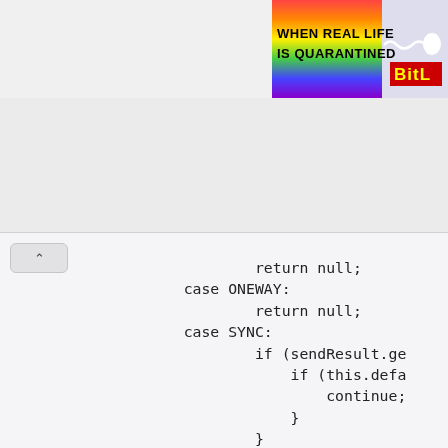[Figure (screenshot): Rainbow banner advertisement with text 'WHEN REAL LIFE IS QUARANTINED' and 'BitL' logo with white oval/sperm icon]
return null;
    case ONEWAY:
        return null;
    case SYNC:
        if (sendResult.ge
            if (this.defa
                continue;
            }
        }

        return sendResult
    default:
        break;
    }
} catch (RemotingException e)
    endTimestamp = System.cur